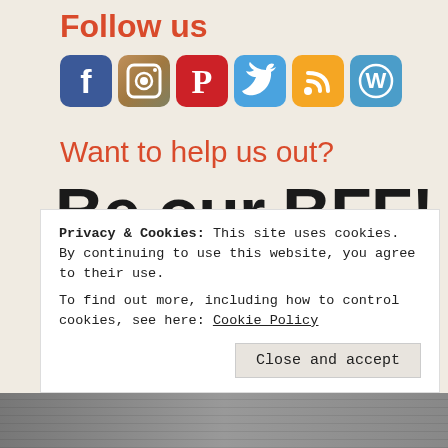Follow us
[Figure (illustration): Row of six social media icons: Facebook, Instagram, Pinterest, Twitter, RSS, WordPress]
Want to help us out?
Be our BFF!
$ 5 (input field with dollar sign prefix)
$5 (dropdown selector)
Privacy & Cookies: This site uses cookies. By continuing to use this website, you agree to their use.
To find out more, including how to control cookies, see here: Cookie Policy
Close and accept